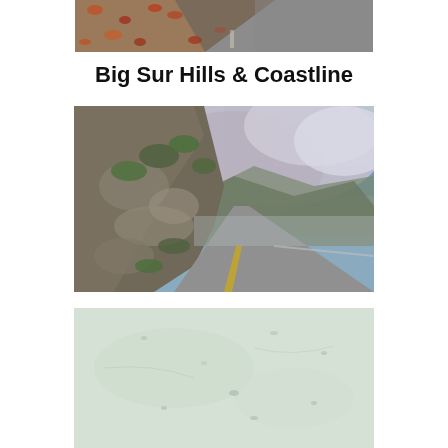[Figure (photo): Top portion of a photo showing an autumn road with reddish-brown fallen leaves on the ground and a road surface, cropped at the top of the page.]
Big Sur Hills & Coastline
[Figure (photo): Photograph of the Big Sur coastline showing a rocky hillside with shrubs and boulders on the left, a winding coastal road curving to the right, and dramatic misty clouds hanging over the mountains in the background under a partly blue sky.]
[Figure (photo): Photograph of a pale, light greenish-white surface with a slightly textured appearance, possibly a sandy beach or pale rock formation, with small scattered marks or footprints visible.]